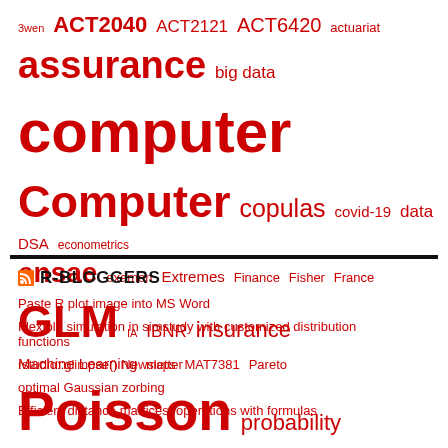[Figure (infographic): Word cloud of actuarial and data science tags in red, varying font sizes indicating frequency: 3wen, ACT2040, ACT2121, ACT6420, actuariat, assurance, big data, computer (very large bold), Computer (large bold), copulas, covid-19, data, DSA, econometrics, ensae, examen, Extremes, Finance, Fisher, France, GLM, IA, IBNR, insurance, Machine Learning, maps, MAT7381, Pareto, Poisson (large bold), probability, probabilité, quantile, R, R-english (very large bold), regression, Renglish, risk, Risques, rstats (large bold), SOA, splines, STT5100, test, tree, viméo]
R-BLOGGERS
Paste R plot image into MS Word
Flexible simulation in simstudy with customized distribution functions
rstudio::glimpse() Newsletter
optimal Gaussian zorbing
Efficient distance matrices: operations with formulas